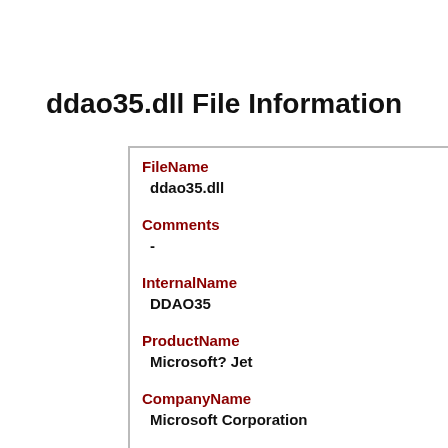ddao35.dll File Information
| Field | Value |
| --- | --- |
| FileName | ddao35.dll |
| Comments | - |
| InternalName | DDAO35 |
| ProductName | Microsoft? Jet |
| CompanyName | Microsoft Corporation |
| LegalCopyright |  |